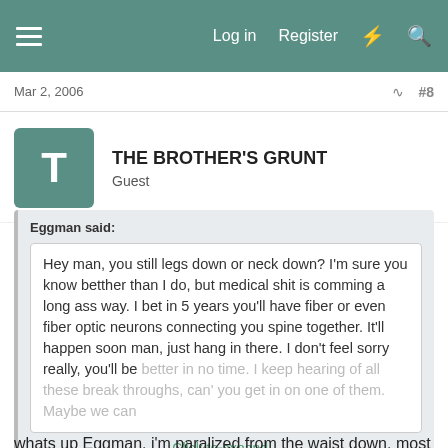Log in  Register
Mar 2, 2006  #8
THE BROTHER'S GRUNT
Guest
Eggman said:
Hey man, you still legs down or neck down? I'm sure you know betther than I do, but medical shit is comming a long ass way. I bet in 5 years you'll have fiber or even fiber optic neurons connecting you spine together. It'll happen soon man, just hang in there. I don't feel sorry really, you'll be better in no time. I keep hearing of all these break throughs, can' you get in on one of them. Maybe we can
Click to expand...
whats up Eggman. i'm paralized from the waist down. most of the stuff you here and read about is for people with current injuries. i myself will probaly never walk again but i dont mind. i think of it this way i'm alot